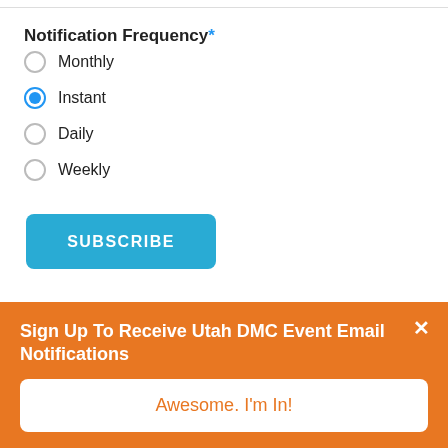Notification Frequency*
Monthly
Instant
Daily
Weekly
[Figure (screenshot): Blue SUBSCRIBE button]
Sign Up To Receive Utah DMC Event Email Notifications
Awesome. I'm In!